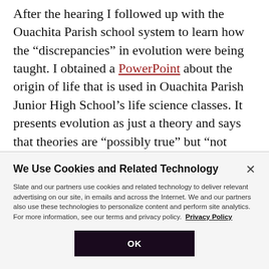After the hearing I followed up with the Ouachita Parish school system to learn how the “discrepancies” in evolution were being taught. I obtained a PowerPoint about the origin of life that is used in Ouachita Parish Junior High School’s life science classes. It presents evolution as just a theory and says that theories are “possibly true” but “not known or proven to be true.” Creationism is also presented as a theory and given equal footing with evolution. Students are taught that
[Figure (screenshot): Cookie consent dialog overlay with title 'We Use Cookies and Related Technology', body text about Slate and partners using cookies and related technology, a Privacy Policy link, and an OK button.]